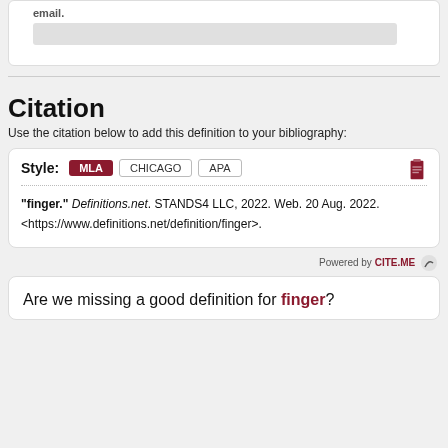email.
Citation
Use the citation below to add this definition to your bibliography:
Style: MLA CHICAGO APA
"finger." Definitions.net. STANDS4 LLC, 2022. Web. 20 Aug. 2022. <https://www.definitions.net/definition/finger>.
Powered by CITE.ME
Are we missing a good definition for finger?